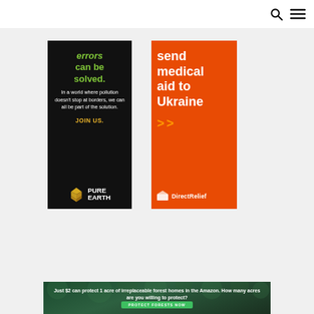Navigation bar with search and menu icons
[Figure (advertisement): Pure Earth ad: black background, green headline 'can be solved.', white body text 'In a world where pollution doesn't stop at borders, we can all be part of the solution.', gold text 'JOIN US.', Pure Earth logo at bottom]
[Figure (advertisement): Direct Relief ad: orange background, white bold text 'send medical aid to Ukraine', orange chevrons '>>',  Direct Relief logo at bottom]
[Figure (advertisement): Amazon forest banner ad: dark green background with forest imagery, text 'Just $2 can protect 1 acre of irreplaceable forest homes in the Amazon. How many acres are you willing to protect?', green button 'PROTECT FORESTS NOW']